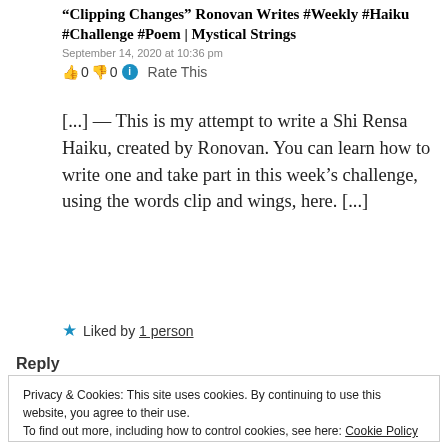“Clipping Changes” Ronovan Writes #Weekly #Haiku #Challenge #Poem | Mystical Strings
September 14, 2020 at 10:36 pm
👍 0 👎 0 ℹ Rate This
[...] — This is my attempt to write a Shi Rensa Haiku, created by Ronovan. You can learn how to write one and take part in this week’s challenge, using the words clip and wings, here. [...]
★ Liked by 1 person
Reply
Privacy & Cookies: This site uses cookies. By continuing to use this website, you agree to their use.
To find out more, including how to control cookies, see here: Cookie Policy
Close and accept